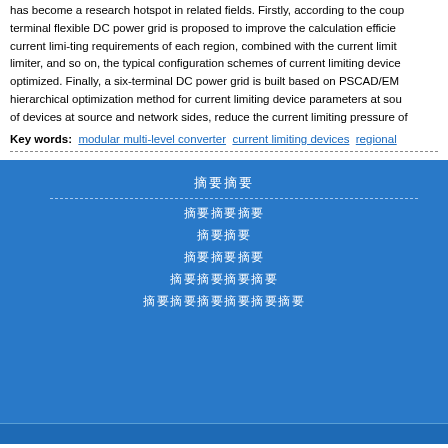has become a research hotspot in related fields. Firstly, according to the coupling terminal flexible DC power grid is proposed to improve the calculation efficiency current limi-ting requirements of each region, combined with the current limiting limiter, and so on, the typical configuration schemes of current limiting device optimized. Finally, a six-terminal DC power grid is built based on PSCAD/EM hierarchical optimization method for current limiting device parameters at source of devices at source and network sides, reduce the current limiting pressure of
Key words: modular multi-level converter; current limiting devices; regional
（Chinese content block with title and list items）